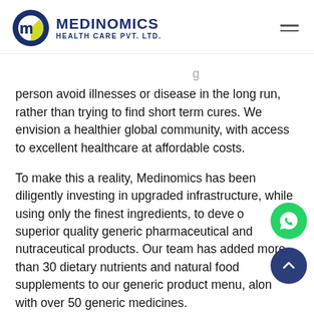[Figure (logo): Medinomics Health Care Pvt. Ltd. logo with circular M icon in blue, green, and white]
person avoid illnesses or disease in the long run, rather than trying to find short term cures. We envision a healthier global community, with access to excellent healthcare at affordable costs.
To make this a reality, Medinomics has been diligently investing in upgraded infrastructure, while using only the finest ingredients, to develop superior quality generic pharmaceutical and nutraceutical products. Our team has added more than 30 dietary nutrients and natural food supplements to our generic product menu, along with over 50 generic medicines.